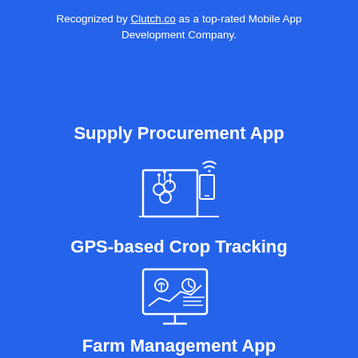Recognized by Clutch.co as a top-rated Mobile App Development Company.
Supply Procurement App
[Figure (illustration): White line-art icon of a supply/farm crate with wifi symbol and mobile device on a blue background]
GPS-based Crop Tracking
[Figure (illustration): White line-art icon of a computer monitor showing crop analytics dashboard with plant, clock, and chart graphics]
Farm Management App
[Figure (illustration): White line-art icon of a cow with wifi signal above it]
Livestock Management App
[Figure (illustration): White line-art icon of a mobile device, partially visible at bottom]